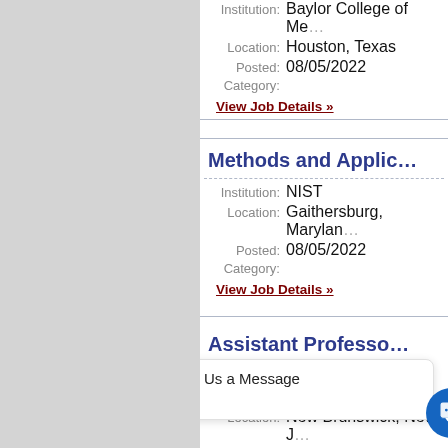Institution: Baylor College of Medicine, Location: Houston, Texas, Posted: 08/05/2022, Category:
View Job Details »
Methods and Applications...
Institution: NIST, Location: Gaithersburg, Maryland, Posted: 08/05/2022, Category:
View Job Details »
Assistant Professor
Location: New Brunswick, New Jersey